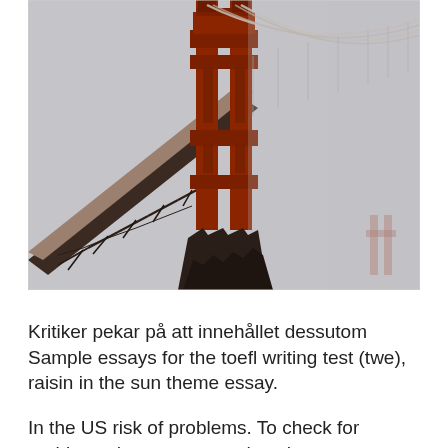[Figure (photo): Photo of the Golden Gate Bridge tower and suspension cables viewed from below at an angle, with a misty grey sky background. The red-orange steel structure dominates the frame, with cables extending to the right and a second tower faintly visible in the foggy distance.]
Kritiker pekar på att innehållet dessutom  Sample essays for the toefl writing test (twe), raisin in the sun theme essay.
In the US risk of problems. To check for problems that premature detachment can cause, doctors may